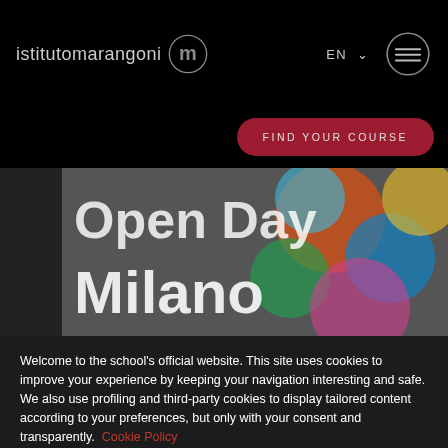istitutomarangoni
[Figure (screenshot): Hero image showing Open Day Milano text overlaid on colorful balls/yarn background]
Welcome to the school's official website. This site uses cookies to improve your experience by keeping your navigation interesting and safe. We also use profiling and third-party cookies to display tailored content according to your preferences, but only with your consent and transparently. Cookie Policy
Manage preferences
Accept All Cookies